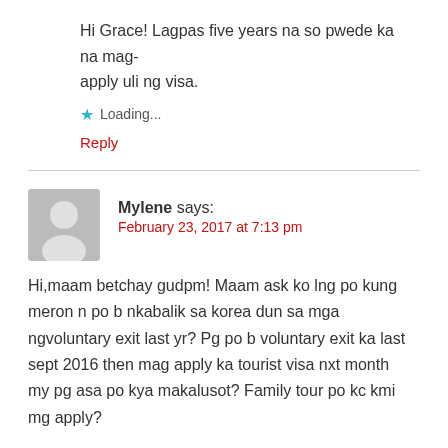Hi Grace! Lagpas five years na so pwede ka na mag-apply uli ng visa.
Loading...
Reply
Mylene says:
February 23, 2017 at 7:13 pm
Hi,maam betchay gudpm! Maam ask ko lng po kung meron n po b nkabalik sa korea dun sa mga ngvoluntary exit last yr? Pg po b voluntary exit ka last sept 2016 then mag apply ka tourist visa nxt month my pg asa po kya makalusot? Family tour po kc kmi mg apply?